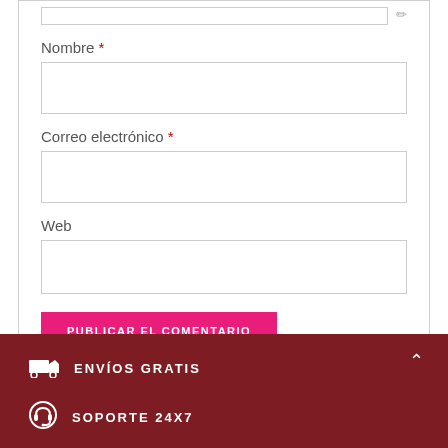Nombre *
Correo electrónico *
Web
PUBLICAR EL COMENTARIO
ENVÍOS GRATIS
SOPORTE 24X7